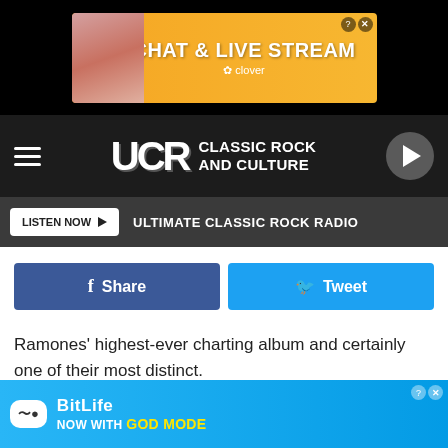[Figure (screenshot): Top advertisement banner for Clover chat and live stream app, orange background with woman in bikini]
[Figure (logo): UCR Ultimate Classic Rock and Culture site header with hamburger menu and play button]
[Figure (screenshot): Listen Now button with Ultimate Classic Rock Radio label on dark gray bar]
[Figure (screenshot): Facebook Share and Twitter Tweet social sharing buttons]
Ramones' highest-ever charting album and certainly one of their most distinct.
LEGENDS WHO NEVER HAD A NO. 1 SINGLE
It's all the more surprising when you consider the success so many of
[Figure (screenshot): Bottom advertisement for BitLife Now With God Mode app, blue background with lightning bolt and hand pointing]